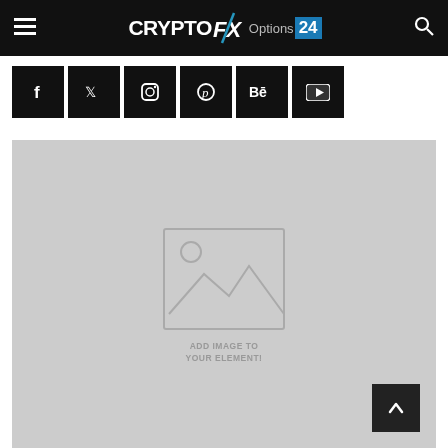CryptoFX Options 24 — site header with hamburger menu, logo, and search icon
[Figure (screenshot): Social media icon buttons row: Facebook, Twitter, Instagram, Pinterest, Behance, YouTube — black square buttons with white icons]
[Figure (other): Image placeholder area with gray background, image placeholder icon, and text 'ADD IMAGE TO YOUR ELEMENT!']